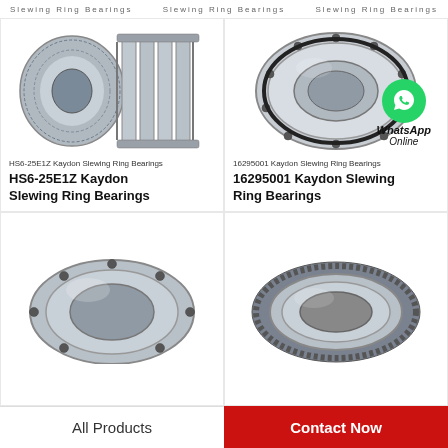Slewing Ring Bearings Slewing Ring Bearings
[Figure (photo): HS6-25E1Z Kaydon Slewing Ring Bearing - cylindrical roller bearing photo]
HS6-25E1Z Kaydon Slewing Ring Bearings
HS6-25E1Z Kaydon Slewing Ring Bearings
[Figure (photo): 16295001 Kaydon Slewing Ring Bearing - thin section ring bearing photo with WhatsApp Online overlay]
16295001 Kaydon Slewing Ring Bearings
16295001 Kaydon Slewing Ring Bearings
[Figure (photo): Kaydon Slewing Ring Bearing - flat ring type, partial view]
[Figure (photo): Kaydon Slewing Ring Bearing - gear ring type, partial view]
All Products | Contact Now